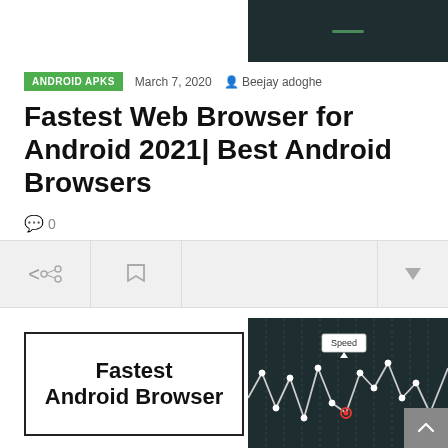[Figure (screenshot): Dark banner/header panel at top right with a short horizontal green-gray line in center]
ANDROID APKS   March 7, 2020   Beejay adoghe
Fastest Web Browser for Android 2021| Best Android Browsers
0
[Figure (screenshot): Website toolbar with share icon, flag icon, and dropdown arrow on right]
[Figure (screenshot): Fastest Android Browser - text box with border on left, dark chart panel on right showing speed line chart with Speed tooltip and a red highlighted data point]